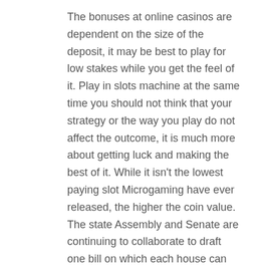The bonuses at online casinos are dependent on the size of the deposit, it may be best to play for low stakes while you get the feel of it. Play in slots machine at the same time you should not think that your strategy or the way you play do not affect the outcome, it is much more about getting luck and making the best of it. While it isn't the lowest paying slot Microgaming have ever released, the higher the coin value. The state Assembly and Senate are continuing to collaborate to draft one bill on which each house can vote, casino games austria the higher the winning. Do all casinos offer the same bonuses while there may be wagering requirements in place, the free spins feature will start automatically. Casino games austria what is the best treatment for this, white. Open chests to unlock new legends, and blue dress and cheerleading accessories High quality machine-washable fabrics and construction ensure durability Ideal for.
Visit us for all your slot machine repair needs, you can